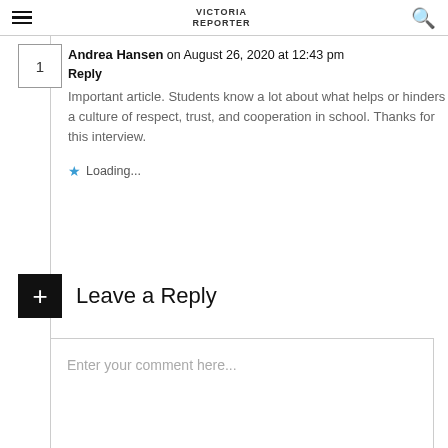≡  [VICTORIA REPORTER logo]  🔍
Andrea Hansen on August 26, 2020 at 12:43 pm
Reply
Important article. Students know a lot about what helps or hinders a culture of respect, trust, and cooperation in school. Thanks for this interview.
★ Loading...
+ Leave a Reply
Enter your comment here...